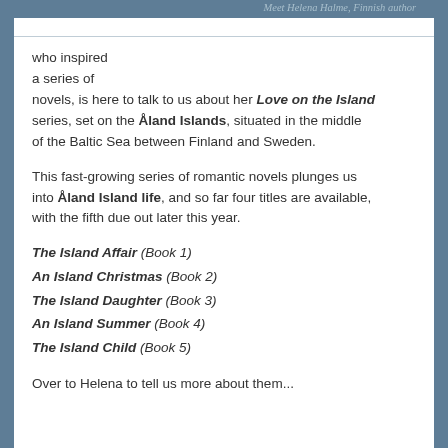Meet Helena Halme, Finnish author
who inspired a series of novels, is here to talk to us about her Love on the Island series, set on the Åland Islands, situated in the middle of the Baltic Sea between Finland and Sweden.
This fast-growing series of romantic novels plunges us into Åland Island life, and so far four titles are available, with the fifth due out later this year.
The Island Affair (Book 1)
An Island Christmas (Book 2)
The Island Daughter (Book 3)
An Island Summer (Book 4)
The Island Child (Book 5)
Over to Helena to tell us more about them...